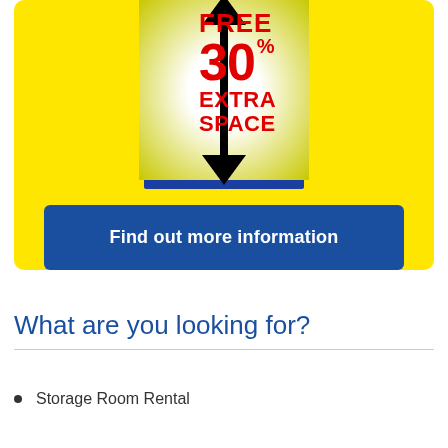[Figure (infographic): Yellow banner advertisement showing FREE 30% EXTRA SPACE with a double-headed arrow graphic and a blue 'Find out more information' button]
What are you looking for?
Storage Room Rental